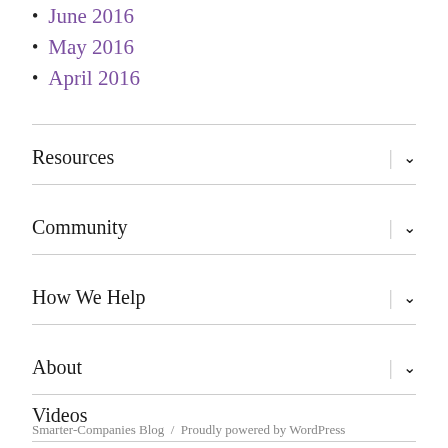June 2016
May 2016
April 2016
Resources
Community
How We Help
About
Videos
Smarter-Companies Blog / Proudly powered by WordPress